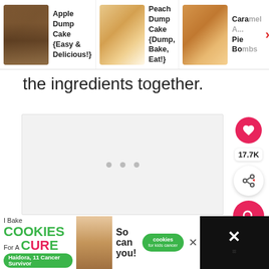[Figure (screenshot): Navigation bar with three recipe thumbnails: Apple Dump Cake {Easy & Delicious!}, Peach Dump Cake {Dump, Bake, Eat!}, Caramel A... Pie Bombs, with a right-arrow chevron]
the ingredients together.
[Figure (other): Large light grey content placeholder area with three small grey dots centered]
[Figure (other): Floating action buttons on right side: pink heart button, 17.7K count, white share button, pink search button]
[Figure (other): Ad banner at bottom: I Bake COOKIES For A CURE ad with woman photo, So can you!, cookies for kids cancer badge, and close buttons]